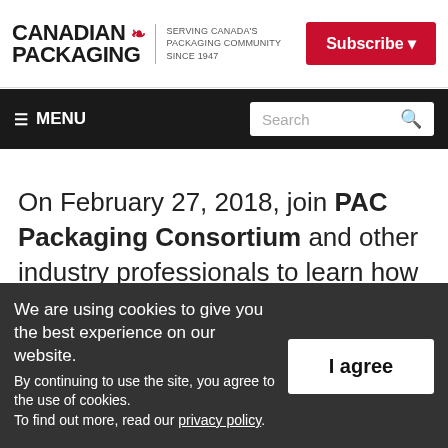CANADIAN PACKAGING — SERVING CANADA'S PACKAGING COMMUNITY SINCE 1947 | Subscribe
≡ MENU | Search
On February 27, 2018, join PAC Packaging Consortium and other industry professionals to learn how SGS/Samplepak excels at short turnaround, short run digital printing with a tour of the Samplepak facility in Mississauga, Ont. followed by a networking lunch...
We are using cookies to give you the best experience on our website.
By continuing to use the site, you agree to the use of cookies.
To find out more, read our privacy policy.